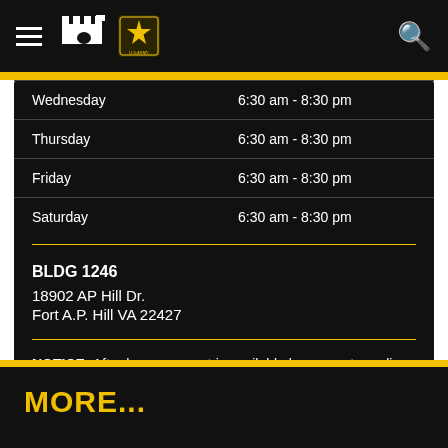[Figure (screenshot): US Army website navigation bar with hamburger menu, castle icon, US Army star logo, and search icon on black background]
| Wednesday | 6:30 am - 8:30 pm |
| Thursday | 6:30 am - 8:30 pm |
| Friday | 6:30 am - 8:30 pm |
| Saturday | 6:30 am - 8:30 pm |
BLDG 1246
18902 AP Hill Dr.
Fort A.P. Hill VA 22427
NOTICE: After hours support is available by request pending availability.
MORE...